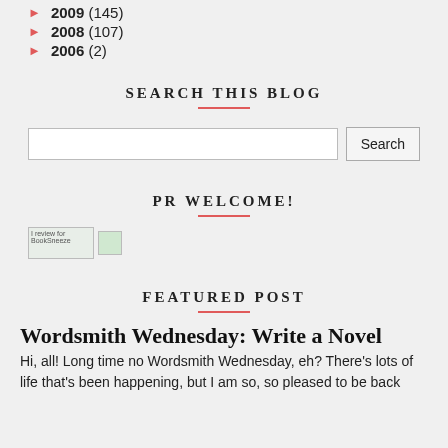► 2009 (145)
► 2008 (107)
► 2006 (2)
SEARCH THIS BLOG
PR WELCOME!
[Figure (other): Two small images with alt text 'I review for BookSneeze' and a small badge image]
FEATURED POST
Wordsmith Wednesday: Write a Novel
Hi, all! Long time no Wordsmith Wednesday, eh? There's lots of life that's been happening, but I am so, so pleased to be back